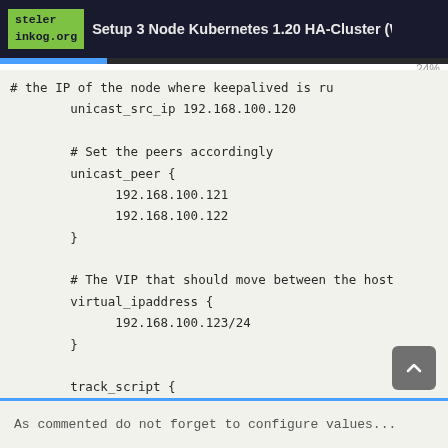steler inkog.org  Setup 3 Node Kubernetes 1.20 HA-Cluster (Without ...  24%
# the IP of the node where keepalived is ru
        unicast_src_ip 192.168.100.120

        # Set the peers accordingly
        unicast_peer {
              192.168.100.121
              192.168.100.122
        }

        # The VIP that should move between the host
        virtual_ipaddress {
              192.168.100.123/24
        }

        track_script {
              check_apiserver
        }
}
As commented do not forget to configure values...